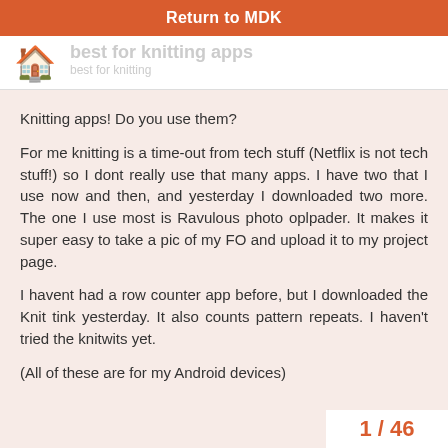Return to MDK
[Figure (other): Home icon with faded navigation title 'best for knitting apps' and subtitle]
Knitting apps! Do you use them?
For me knitting is a time-out from tech stuff (Netflix is not tech stuff!) so I dont really use that many apps. I have two that I use now and then, and yesterday I downloaded two more. The one I use most is Ravulous photo oplpader. It makes it super easy to take a pic of my FO and upload it to my project page.
I havent had a row counter app before, but I downloaded the Knit tink yesterday. It also counts pattern repeats. I haven't tried the knitwits yet.
(All of these are for my Android devices)
1 / 46